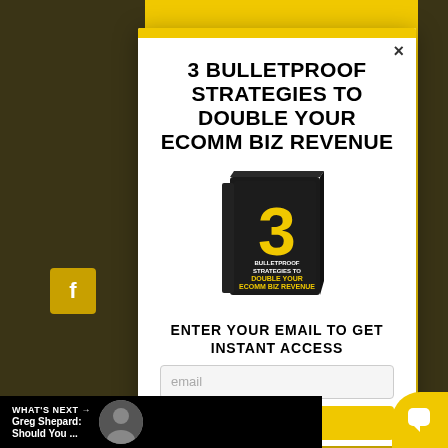3 BULLETPROOF STRATEGIES TO DOUBLE YOUR ECOMM BIZ REVENUE
[Figure (photo): 3D book cover showing '3 Bulletproof Strategies to Double Your Ecomm Biz Revenue' with yellow number 3 on dark background]
ENTER YOUR EMAIL TO GET INSTANT ACCESS
email (input field placeholder)
WHAT'S NEXT → Greg Shepard: Should You ...